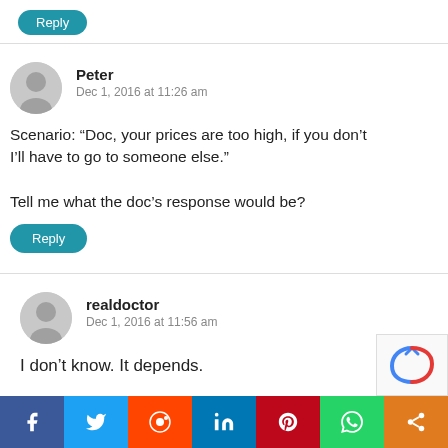[Figure (other): Partial blue Reply button at top of page]
Peter
Dec 1, 2016 at 11:26 am
Scenario: “Doc, your prices are too high, if you don’t I’ll have to go to someone else.”

Tell me what the doc’s response would be?
Reply
realdoctor
Dec 1, 2016 at 11:56 am
I don’t know. It depends.